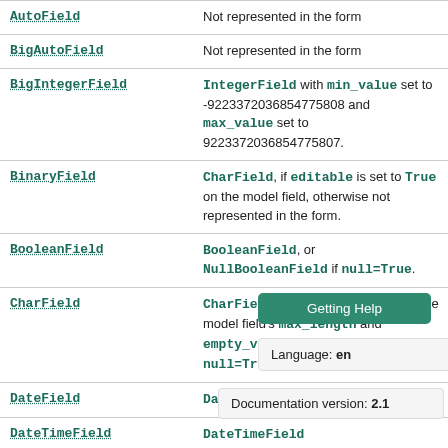| Model field | Form field |
| --- | --- |
| AutoField | Not represented in the form |
| BigAutoField | Not represented in the form |
| BigIntegerField | IntegerField with min_value set to -9223372036854775808 and max_value set to 9223372036854775807. |
| BinaryField | CharField, if editable is set to True on the model field, otherwise not represented in the form. |
| BooleanField | BooleanField, or NullBooleanField if null=True. |
| CharField | CharField with max_length set to the model field's max_length and empty_value set to None if null=True. |
| DateField | DateField |
| DateTimeField | DateTimeField |
| DecimalField | Decim[al...] |
| EmailField | EmailField |
Getting Help
Language: en
Documentation version: 2.1